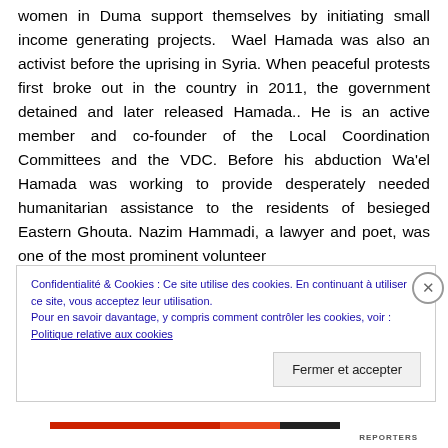women in Duma support themselves by initiating small income generating projects. Wael Hamada was also an activist before the uprising in Syria. When peaceful protests first broke out in the country in 2011, the government detained and later released Hamada.. He is an active member and co-founder of the Local Coordination Committees and the VDC. Before his abduction Wa'el Hamada was working to provide desperately needed humanitarian assistance to the residents of besieged Eastern Ghouta. Nazim Hammadi, a lawyer and poet, was one of the most prominent volunteer
Confidentialité & Cookies : Ce site utilise des cookies. En continuant à utiliser ce site, vous acceptez leur utilisation.
Pour en savoir davantage, y compris comment contrôler les cookies, voir :
Politique relative aux cookies
Fermer et accepter